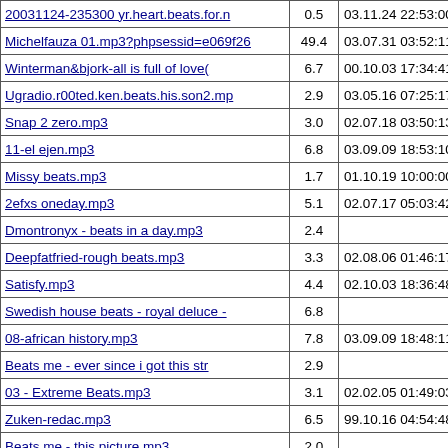| Filename | Size | Date |
| --- | --- | --- |
| 20031124-235300 yr.heart.beats.for.n | 0.5 | 03.11.24 22:53:00 |
| Michelfauza 01.mp3?phpsessid=e069f26 | 49.4 | 03.07.31 03:52:11 |
| Winterman&bjork-all is full of love( | 6.7 | 00.10.03 17:34:41 |
| Ugradio.r00ted.ken.beats.his.son2.mp | 2.9 | 03.05.16 07:25:17 |
| Snap 2 zero.mp3 | 3.0 | 02.07.18 03:50:13 |
| 11-el ejen.mp3 | 6.8 | 03.09.09 18:53:10 |
| Missy beats.mp3 | 1.7 | 01.10.19 10:00:00 |
| 2efxs oneday.mp3 | 5.1 | 02.07.17 05:03:42 |
| Dmontronyx - beats in a day.mp3 | 2.4 |  |
| Deepfatfried-rough beats.mp3 | 3.3 | 02.08.06 01:46:17 |
| Satisfy.mp3 | 4.4 | 02.10.03 18:36:48 |
| Swedish house beats - royal deluce - | 6.8 |  |
| 08-african history.mp3 | 7.8 | 03.09.09 18:48:11 |
| Beats me - ever since i got this str | 2.9 |  |
| 03 - Extreme Beats.mp3 | 3.1 | 02.02.05 01:49:03 |
| Zuken-redac.mp3 | 6.5 | 99.10.16 04:54:48 |
| Beats me - this picture.mp3 | 2.0 |  |
| Cdnu beats-track37-1.mp3 | 0.5 | 02.08.23 20:10:49 |
| Bass Beats And Melody.mp3 | 5.2 | 02.06.07 06:49:07 |